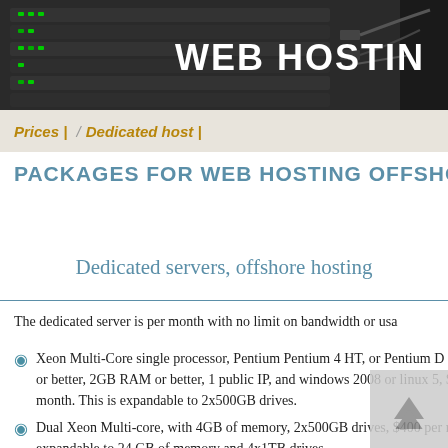[Figure (photo): Server rack hardware photo with green LED lights, dark background. 'WEB HOSTING' text overlay in white on right side.]
Prices | / Dedicated host |
PACKAGES FOR WEB HOSTING OFFSHORE
Dedicated servers, offshore hosting
The dedicated server is per month with no limit on bandwidth or usa...
Xeon Multi-Core single processor, Pentium Pentium 4 HT, or Pentium D HT, 200GB or better, 2GB RAM or better, 1 public IP, and windows 2008 or linux 5, $200 per month. This is expandable to 2x500GB drives.
Dual Xeon Multi-core, with 4GB of memory, 2x500GB drives, $400 per month. This is expandable to 24 GB of memory and 4x1TB drives.